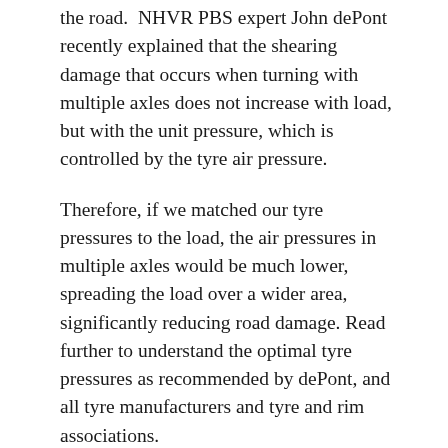the road. NHVR PBS expert John dePont recently explained that the shearing damage that occurs when turning with multiple axles does not increase with load, but with the unit pressure, which is controlled by the tyre air pressure.
Therefore, if we matched our tyre pressures to the load, the air pressures in multiple axles would be much lower, spreading the load over a wider area, significantly reducing road damage. Read further to understand the optimal tyre pressures as recommended by dePont, and all tyre manufacturers and tyre and rim associations.
Matching tyre pressures to the load significantly reduces tyre bounce. Over-inflated tyres, as is normal on all multiple axle tyres, bounce violently off every bump,